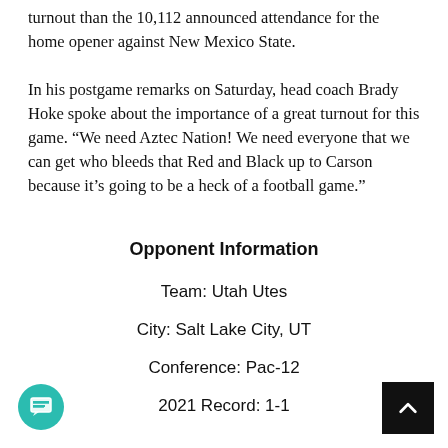turnout than the 10,112 announced attendance for the home opener against New Mexico State.
In his postgame remarks on Saturday, head coach Brady Hoke spoke about the importance of a great turnout for this game. “We need Aztec Nation! We need everyone that we can get who bleeds that Red and Black up to Carson because it’s going to be a heck of a football game.”
Opponent Information
Team: Utah Utes
City: Salt Lake City, UT
Conference: Pac-12
2021 Record: 1-1